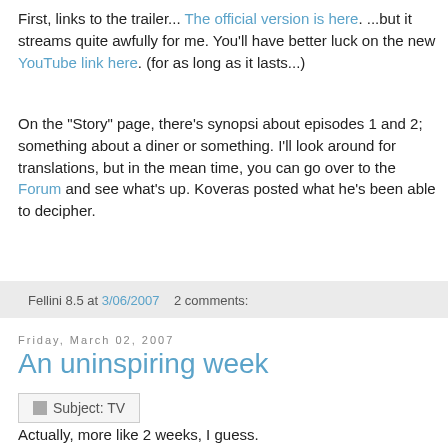First, links to the trailer... The official version is here. ...but it streams quite awfully for me. You'll have better luck on the new YouTube link here. (for as long as it lasts...)
On the "Story" page, there's synopsi about episodes 1 and 2; something about a diner or something. I'll look around for translations, but in the mean time, you can go over to the Forum and see what's up. Koveras posted what he's been able to decipher.
Fellini 8.5 at 3/06/2007   2 comments:
Friday, March 02, 2007
An uninspiring week
[Figure (other): Subject: TV label/badge image]
Actually, more like 2 weeks, I guess.